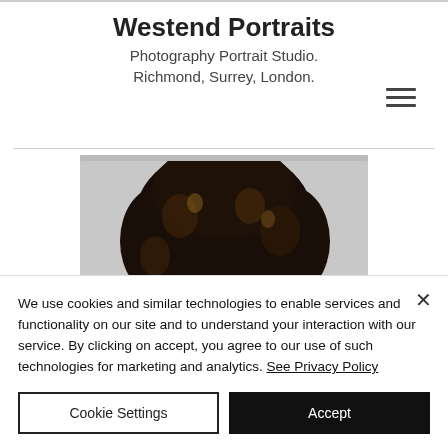Westend Portraits
Photography Portrait Studio.
Richmond, Surrey, London.
[Figure (photo): Portrait photo of a person with curly dark hair, cropped at top of head, neutral grey background]
We use cookies and similar technologies to enable services and functionality on our site and to understand your interaction with our service. By clicking on accept, you agree to our use of such technologies for marketing and analytics. See Privacy Policy